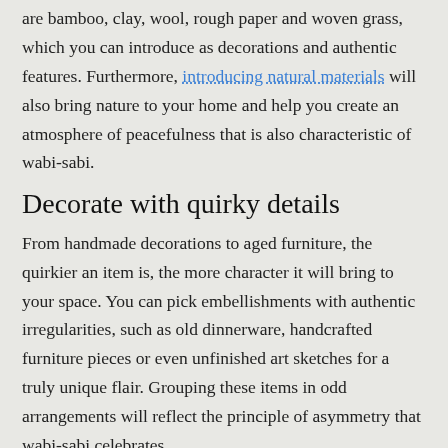are bamboo, clay, wool, rough paper and woven grass, which you can introduce as decorations and authentic features. Furthermore, introducing natural materials will also bring nature to your home and help you create an atmosphere of peacefulness that is also characteristic of wabi-sabi.
Decorate with quirky details
From handmade decorations to aged furniture, the quirkier an item is, the more character it will bring to your space. You can pick embellishments with authentic irregularities, such as old dinnerware, handcrafted furniture pieces or even unfinished art sketches for a truly unique flair. Grouping these items in odd arrangements will reflect the principle of asymmetry that wabi-sabi celebrates.
Go with clutter-free, open spaces